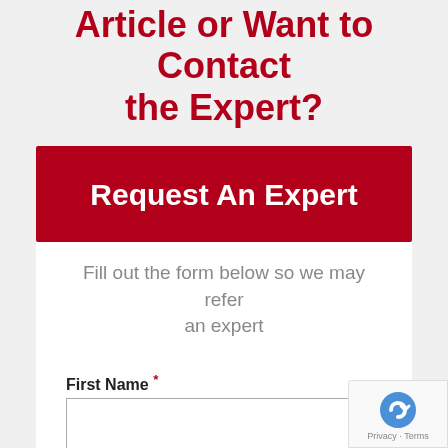Have A Question About This Article or Want to Contact the Expert?
Request An Expert
Fill out the form below so we may refer an expert
First Name *